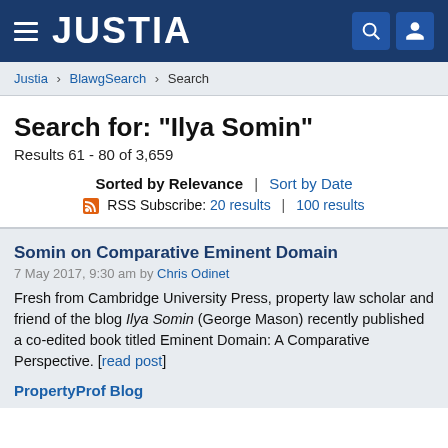JUSTIA
Justia › BlawgSearch › Search
Search for: "Ilya Somin"
Results 61 - 80 of 3,659
Sorted by Relevance | Sort by Date
RSS Subscribe: 20 results | 100 results
Somin on Comparative Eminent Domain
7 May 2017, 9:30 am by Chris Odinet
Fresh from Cambridge University Press, property law scholar and friend of the blog Ilya Somin (George Mason) recently published a co-edited book titled Eminent Domain: A Comparative Perspective. [read post]
PropertyProf Blog